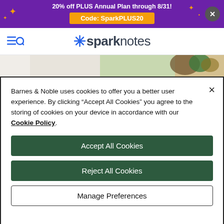20% off PLUS Annual Plan through 8/31! Code: SparkPLUS20
[Figure (logo): SparkNotes logo with asterisk and navigation icons]
[Figure (photo): Partial book cover image strip]
Barnes & Noble uses cookies to offer you a better user experience. By clicking "Accept All Cookies" you agree to the storing of cookies on your device in accordance with our Cookie Policy.
Accept All Cookies
Reject All Cookies
Manage Preferences